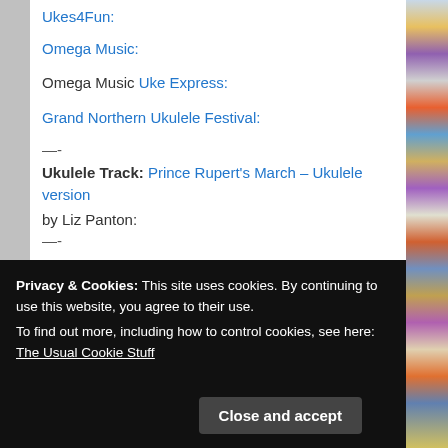Ukes4Fun:
Omega Music:
Omega Music Uke Express:
Grand Northern Ukulele Festival:
—-
Ukulele Track: Prince Rupert's March – Ukulele version
by Liz Panton:
—-
Privacy & Cookies: This site uses cookies. By continuing to use this website, you agree to their use.
To find out more, including how to control cookies, see here: The Usual Cookie Stuff
Close and accept